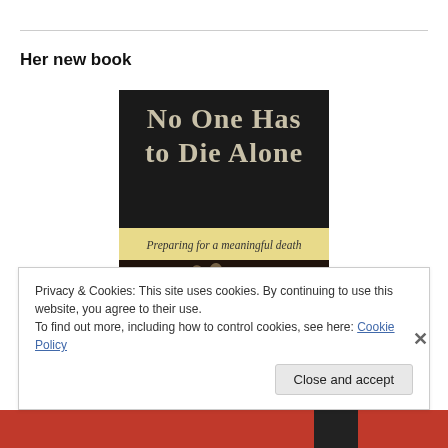Her new book
[Figure (illustration): Book cover of 'No One Has to Die Alone: Preparing for a meaningful death' — dark background with large serif title text and a yellow subtitle band, lower half showing two intertwined hands in a warm-toned photograph]
Privacy & Cookies: This site uses cookies. By continuing to use this website, you agree to their use.
To find out more, including how to control cookies, see here: Cookie Policy
Close and accept